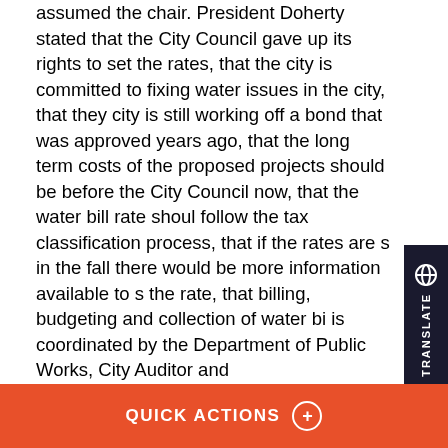assumed the chair. President Doherty stated that the City Council gave up its rights to set the rates, that the city is committed to fixing water issues in the city, that they city is still working off a bond that was approved years ago, that the long term costs of the proposed projects should be before the City Council now, that the water bill rate should follow the tax classification process, that if the rates are set in the fall there would be more information available to set the rate, that billing, budgeting and collection of water bills is coordinated by the Department of Public Works, City Auditor and Treasurer/Collector but each has a different figure as to what should be collected, that the City Council needs documented proof as to what the rates will be, and that the first step is to bring the change back to the city council. Motion made and 2nd to return to the regular order of business, all in favor, 9-0.Motion made and 2nd that the COMMITTEE REPORT be ADOPTED, AS FURTHER
[Figure (other): Translate tab on right side of page with globe icon and TRANSLATE text rotated vertically]
QUICK ACTIONS ⊕